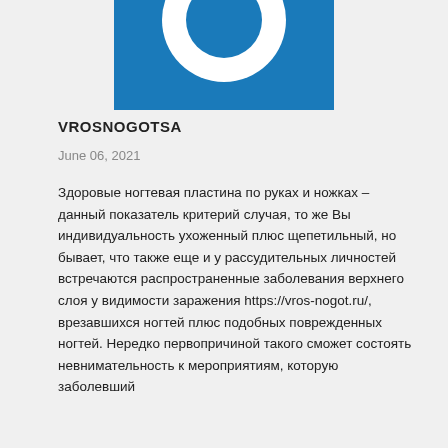[Figure (logo): Blue square logo with white ring/donut shape, partially cropped at top]
VROSNOGOTSA
June 06, 2021
Здоровые ногтевая пластина по руках и ножках – данный показатель критерий случая, то же Вы индивидуальность ухоженный плюс щепетильный, но бывает, что также еще и у рассудительных личностей встречаются распространенные заболевания верхнего слоя у видимости заражения https://vros-nogot.ru/, врезавшихся ногтей плюс подобных поврежденных ногтей. Нередко первопричиной такого сможет состоять невнимательность к мероприятиям, которую заболевший